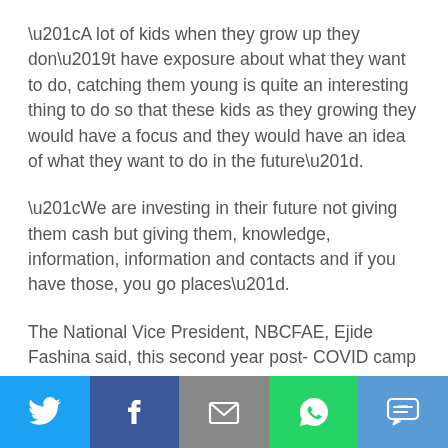“A lot of kids when they grow up they don’t have exposure about what they want to do, catching them young is quite an interesting thing to do so that these kids as they growing they would have a focus and they would have an idea of what they want to do in the future”.
“We are investing in their future not giving them cash but giving them, knowledge, information, information and contacts and if you have those, you go places”.
The National Vice President, NBCFAE, Ejide Fashina said, this second year post- COVID camp was wonderful and a huge success.
According to her, this is the ninth year of the NBCFAE ACE
[Figure (infographic): Social media share bar with five buttons: Twitter (blue bird icon), Facebook (dark blue f icon), Email (grey envelope icon), WhatsApp (green phone icon), SMS (blue SMS bubble icon)]